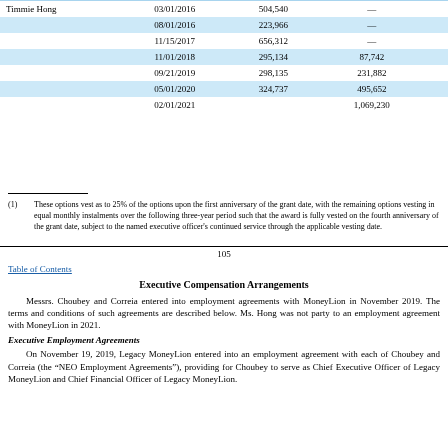|  | Date | Number of Securities | Number of Securities (col2) |  |
| --- | --- | --- | --- | --- |
| Timmie Hong | 03/01/2016 | 504,540 | — |  |
|  | 08/01/2016 | 223,966 | — |  |
|  | 11/15/2017 | 656,312 | — |  |
|  | 11/01/2018 | 295,134 | 87,742 |  |
|  | 09/21/2019 | 298,135 | 231,882 |  |
|  | 05/01/2020 | 324,737 | 495,652 |  |
|  | 02/01/2021 |  | 1,069,230 |  |
(1) These options vest as to 25% of the options upon the first anniversary of the grant date, with the remaining options vesting in equal monthly instalments over the following three-year period such that the award is fully vested on the fourth anniversary of the grant date, subject to the named executive officer's continued service through the applicable vesting date.
105
Table of Contents
Executive Compensation Arrangements
Messrs. Choubey and Correia entered into employment agreements with MoneyLion in November 2019. The terms and conditions of such agreements are described below. Ms. Hong was not party to an employment agreement with MoneyLion in 2021.
Executive Employment Agreements
On November 19, 2019, Legacy MoneyLion entered into an employment agreement with each of Choubey and Correia (the "NEO Employment Agreements"), providing for Choubey to serve as Chief Executive Officer of Legacy MoneyLion and Chief Financial Officer of Legacy MoneyLion.